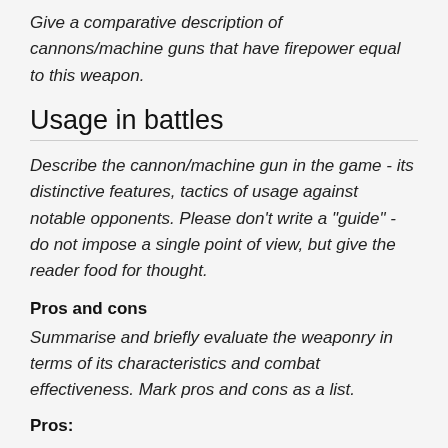Give a comparative description of cannons/machine guns that have firepower equal to this weapon.
Usage in battles
Describe the cannon/machine gun in the game - its distinctive features, tactics of usage against notable opponents. Please don't write a "guide" - do not impose a single point of view, but give the reader food for thought.
Pros and cons
Summarise and briefly evaluate the weaponry in terms of its characteristics and combat effectiveness. Mark pros and cons as a list.
Pros: